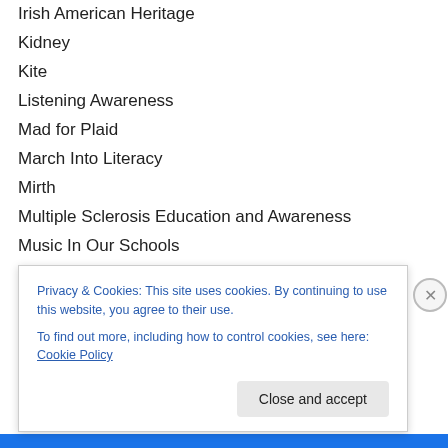Irish American Heritage
Kidney
Kite
Listening Awareness
Mad for Plaid
March Into Literacy
Mirth
Multiple Sclerosis Education and Awareness
Music In Our Schools
On Hold
Play the Recorder
Poison Prevention Awareness
Privacy & Cookies: This site uses cookies. By continuing to use this website, you agree to their use.
To find out more, including how to control cookies, see here: Cookie Policy